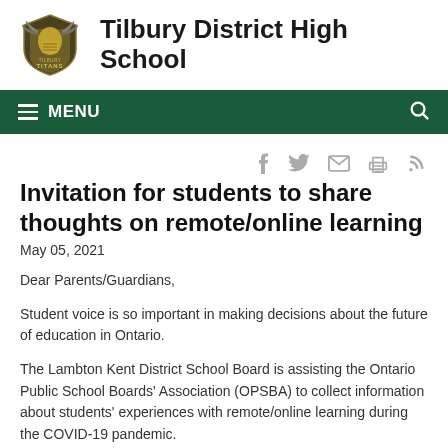Tilbury District High School
[Figure (logo): Tilbury Titans school logo — stylized knight helmet with wings]
Invitation for students to share thoughts on remote/online learning
May 05, 2021
Dear Parents/Guardians,
Student voice is so important in making decisions about the future of education in Ontario.
The Lambton Kent District School Board is assisting the Ontario Public School Boards' Association (OPSBA) to collect information about students' experiences with remote/online learning during the COVID-19 pandemic.